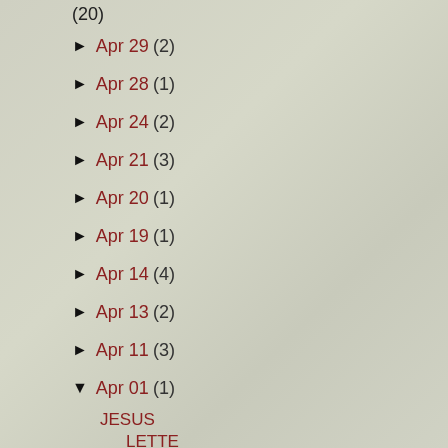(20)
► Apr 29 (2)
► Apr 28 (1)
► Apr 24 (2)
► Apr 21 (3)
► Apr 20 (1)
► Apr 19 (1)
► Apr 14 (4)
► Apr 13 (2)
► Apr 11 (3)
▼ Apr 01 (1)
JESUS LETTERS Do Not Worry About The Things That ...